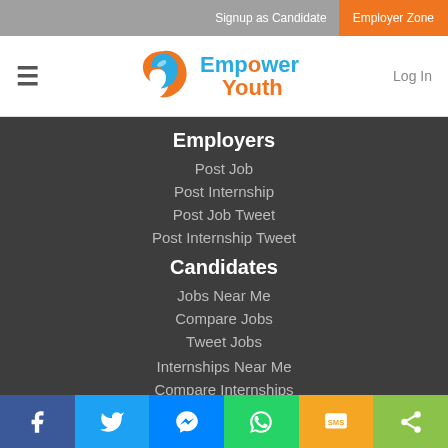Signup as Candidate | Employer Zone
[Figure (logo): Empower Youth logo with circular icon and text]
Employers
Post Job
Post Internship
Post Job Tweet
Post Internship Tweet
Candidates
Jobs Near Me
Compare Jobs
Tweet Jobs
Internships Near Me
Compare Internships